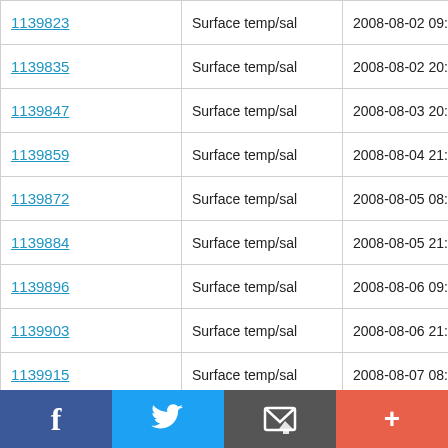| ID | Type | Date/Time | Lat |
| --- | --- | --- | --- |
| 1139823 | Surface temp/sal | 2008-08-02 09:20:04 | 53.331 N |
| 1139835 | Surface temp/sal | 2008-08-02 20:59:35 | 53.338 N |
| 1139847 | Surface temp/sal | 2008-08-03 20:45:36 | 53.331 N |
| 1139859 | Surface temp/sal | 2008-08-04 21:36:48 | 53.336 N |
| 1139872 | Surface temp/sal | 2008-08-05 08:58:28 | 53.33 N |
| 1139884 | Surface temp/sal | 2008-08-05 21:02:09 | 53.337 N |
| 1139896 | Surface temp/sal | 2008-08-06 09:02:48 | 53.329 N |
| 1139903 | Surface temp/sal | 2008-08-06 21:14:39 | 53.41 N |
| 1139915 | Surface temp/sal | 2008-08-07 08:46:59 | 53.329 N |
| 1139927 | Surface temp/sal | 2008-08-07 21:09:30 | 53.336 N |
| 1139939 | Surface temp/sal | 2008-08-08 08:50:39 | 53.329 N |